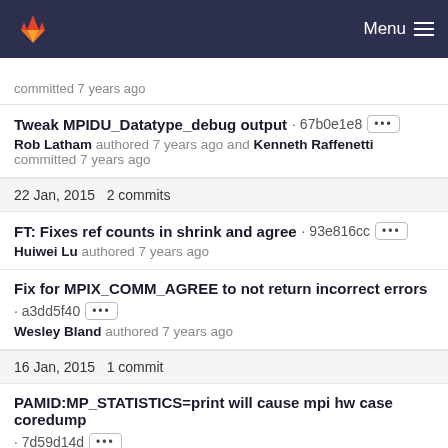Menu
committed 7 years ago
Tweak MPIDU_Datatype_debug output · 67b0e1e8 ···
Rob Latham authored 7 years ago and Kenneth Raffenetti committed 7 years ago
22 Jan, 2015 2 commits
FT: Fixes ref counts in shrink and agree · 93e816cc ···
Huiwei Lu authored 7 years ago
Fix for MPIX_COMM_AGREE to not return incorrect errors · a3dd5f40 ···
Wesley Bland authored 7 years ago
16 Jan, 2015 1 commit
PAMID:MP_STATISTICS=print will cause mpi hw case coredump · 7d59d14d ···
Su Huang authored 7 years ago